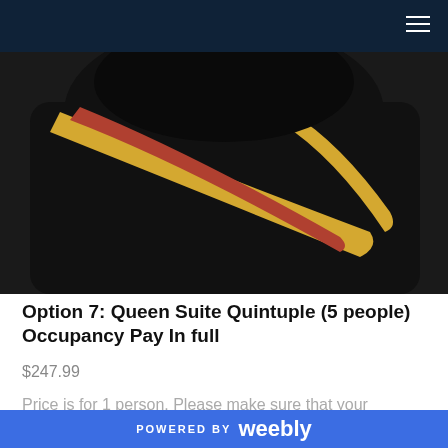[Figure (photo): Close-up of an academic graduation gown shoulder with gold and red/burgundy hood/sash on black fabric]
Option 7: Queen Suite Quintuple (5 people) Occupancy Pay In full
$247.99
Price is for 1 person. Please make sure that your roommates
Shop
[Figure (photo): Partial view of another graduation gown (black), bottom of page]
POWERED BY weebly